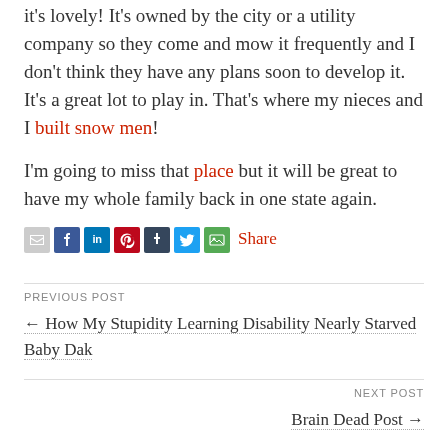it's lovely! It's owned by the city or a utility company so they come and mow it frequently and I don't think they have any plans soon to develop it. It's a great lot to play in. That's where my nieces and I built snow men!
I'm going to miss that place but it will be great to have my whole family back in one state again.
[Figure (other): Social sharing icons row: email, Facebook, LinkedIn, Pinterest, Tumblr, Twitter, image share button, and Share text link]
PREVIOUS POST
← How My Stupidity Learning Disability Nearly Starved Baby Dak
NEXT POST
Brain Dead Post →